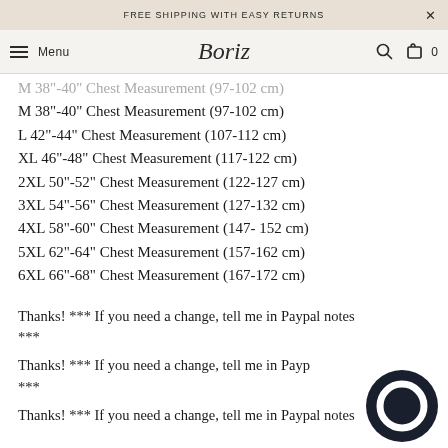FREE SHIPPING WITH EASY RETURNS
Menu  Boriz  0
M 38"-40" Chest Measurement (97-102 cm)
L 42"-44" Chest Measurement (107-112 cm)
XL 46"-48" Chest Measurement (117-122 cm)
2XL 50"-52" Chest Measurement (122-127 cm)
3XL 54"-56" Chest Measurement (127-132 cm)
4XL 58"-60" Chest Measurement (147- 152 cm)
5XL 62"-64" Chest Measurement (157-162 cm)
6XL 66"-68" Chest Measurement (167-172 cm)
Thanks! *** If you need a change, tell me in Paypal notes ***
Thanks! *** If you need a change, tell me in Paypal notes ***
Thanks! *** If you need a change, tell me in Paypal notes